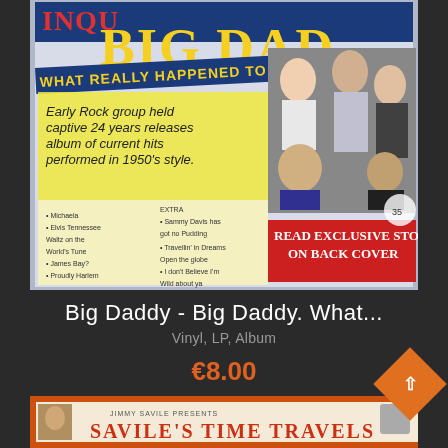[Figure (photo): Album cover of 'Big Daddy - What Really Happened to the Band?' showing a magazine-style LP cover with yellow text 'BIG DAD...' headline, text reading 'Early Rock group held captive 24 years releases album of current hits performed in 1950's style.' with a photo of band members and 'READ EXCLUSIVE STORY ON BACK COVER' in red banner.]
Big Daddy - Big Daddy. What...
Vinyl, LP, Album
€8.00
[Figure (photo): Partial view of another album 'Jimmy Savile Presents Savile's Time Travels' with orange/red decorative border and serif title text visible at bottom of page.]